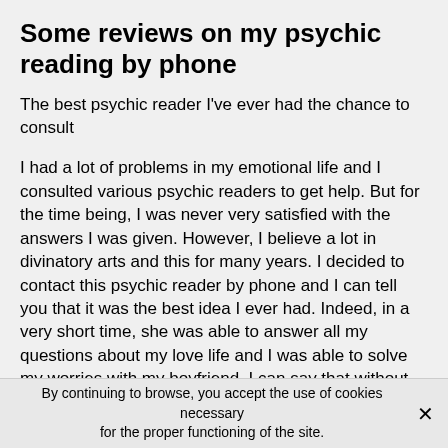Some reviews on my psychic reading by phone
The best psychic reader I've ever had the chance to consult
I had a lot of problems in my emotional life and I consulted various psychic readers to get help. But for the time being, I was never very satisfied with the answers I was given. However, I believe a lot in divinatory arts and this for many years. I decided to contact this psychic reader by phone and I can tell you that it was the best idea I ever had. Indeed, in a very short time, she was able to answer all my questions about my love life and I was able to solve my worries with my boyfriend. I can say that without her precious help, I would still be in doubt. I am very happy
By continuing to browse, you accept the use of cookies necessary for the proper functioning of the site.